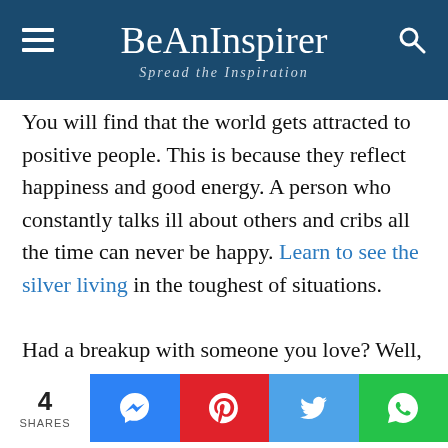BeAnInspirer — Spread the Inspiration
You will find that the world gets attracted to positive people. This is because they reflect happiness and good energy. A person who constantly talks ill about others and cribs all the time can never be happy. Learn to see the silver living in the toughest of situations.

Had a breakup with someone you love? Well, breakups are temporary and if it is not, then someone else will walk into your life. Did you fail in any exam? What's the sad part here? If you had worked hard…
4 SHARES | Messenger | Pinterest | Twitter | WhatsApp